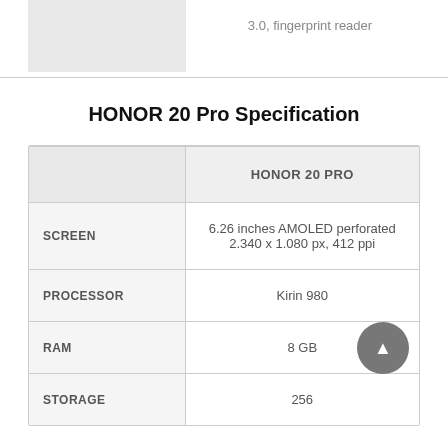[Figure (photo): Partial image of a device, cropped at top of page]
3.0, fingerprint reader
HONOR 20 Pro Specification
| HONOR 20 PRO |  |
| --- | --- |
| SCREEN | 6.26 inches AMOLED perforated 2.340 x 1.080 px, 412 ppi |
| PROCESSOR | Kirin 980 |
| RAM | 8 GB |
| STORAGE | 256 |